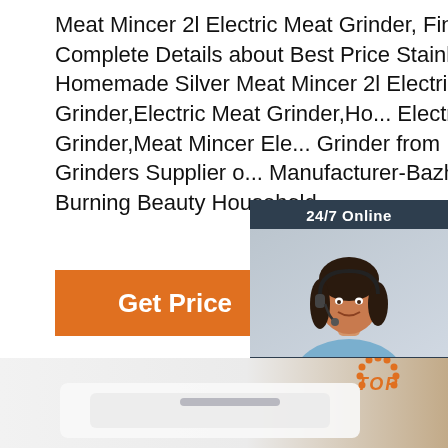Meat Mincer 2l Electric Meat Grinder, Find Complete Details about Best Price Stainless Steel Homemade Silver Meat Mincer 2l Electric Meat Grinder,Electric Meat Grinder,Ho... Electric Meat Grinder,Meat Mincer Ele... Grinder from Meat Grinders Supplier o... Manufacturer-Bazhou Burning Beauty Household ...
[Figure (screenshot): 24/7 Online chat widget with a woman wearing a headset, dark blue/grey background, with 'Click here for free chat!' text and an orange QUOTATION button]
[Figure (photo): Product photo area showing a white/silver meat grinder appliance with a tan/brown background gradient, and an orange TOP badge with dots in the upper right]